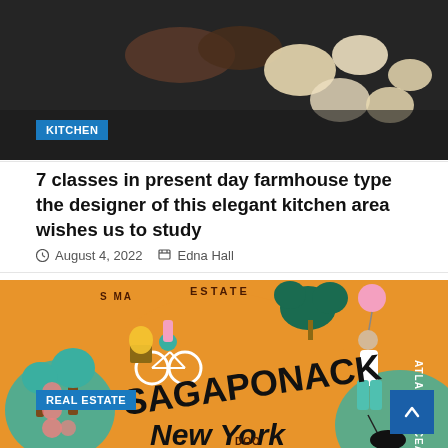[Figure (photo): Close-up of hands on a dark cooking surface with dough or cookie shapes, kitchen setting]
KITCHEN
7 classes in present day farmhouse type the designer of this elegant kitchen area wishes us to study
August 4, 2022   Edna Hall
[Figure (illustration): Colorful illustrated map/graphic of Sagaponack, New York with cyclist, walker with dog, trees and plants on orange background]
REAL ESTATE